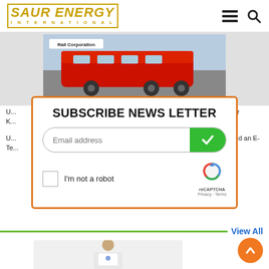SAUR ENERGY INTERNATIONAL
[Figure (photo): Rail Corporation red train locomotive image]
U...rs For K...
U... floated an E-Te...
[Figure (screenshot): Newsletter subscription modal with email input, reCAPTCHA checkbox, and SUBSCRIBE NEWS LETTER heading]
View All
[Figure (photo): Person in white polo shirt standing]